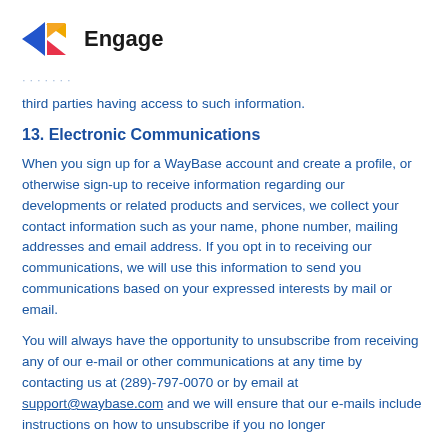[Figure (logo): Engage logo with colorful triangular arrow icon and bold 'Engage' text]
third parties having access to such information.
13. Electronic Communications
When you sign up for a WayBase account and create a profile, or otherwise sign-up to receive information regarding our developments or related products and services, we collect your contact information such as your name, phone number, mailing addresses and email address. If you opt in to receiving our communications, we will use this information to send you communications based on your expressed interests by mail or email.
You will always have the opportunity to unsubscribe from receiving any of our e-mail or other communications at any time by contacting us at (289)-797-0070 or by email at support@waybase.com and we will ensure that our e-mails include instructions on how to unsubscribe if you no longer